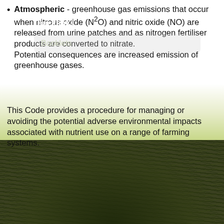Atmospheric - greenhouse gas emissions that occur when nitrous oxide (N2O) and nitric oxide (NO) are released from urine patches and as nitrogen fertiliser products are converted to nitrate. Potential consequences are increased emission of greenhouse gases.
This Code provides a procedure for managing or avoiding the potential adverse environmental impacts associated with nutrient use on a range of farming systems.
[Figure (photo): Photograph of grass field at dusk/dawn with dark green grass blades in the foreground and a pale yellow-green sky in the background.]
Quicklinks:
Booklets